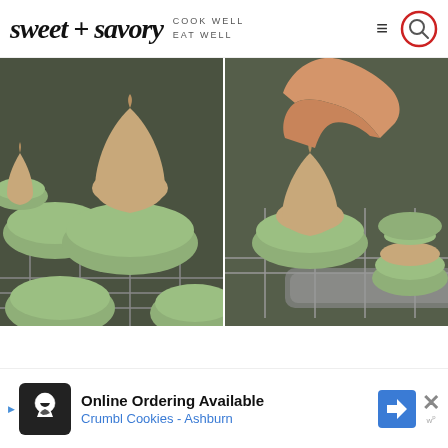sweet + savory COOK WELL EAT WELL
[Figure (photo): Two green macarons on a wire cooling rack with tan/caramel-colored buttercream filling piped on top in a Hershey kiss shape]
[Figure (photo): Hand placing top of green macaron shell onto buttercream filling on a wire rack, with more assembled macarons visible]
[Figure (screenshot): Advertisement banner: Online Ordering Available - Crumbl Cookies - Ashburn, with chef logo icon and blue navigation arrow icon, with X close button]